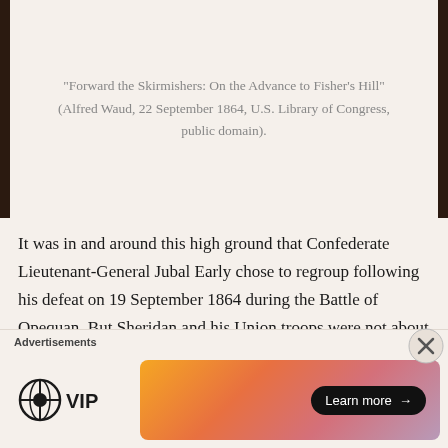“Forward the Skirmishers: On the Advance to Fisher’s Hill” (Alfred Waud, 22 September 1864, U.S. Library of Congress, public domain).
It was in and around this high ground that Confederate Lieutenant-General Jubal Early chose to regroup following his defeat on 19 September 1864 during the Battle of Opequan. But Sheridan and his Union troops were not about to let that happen. According to Irwin:
On the morning of the 20th of September Sheridan set out to follow Early, and in the afternoon took up a
Advertisements
[Figure (other): WordPress VIP logo and advertisement banner with 'Learn more' button and gradient orange/pink background]